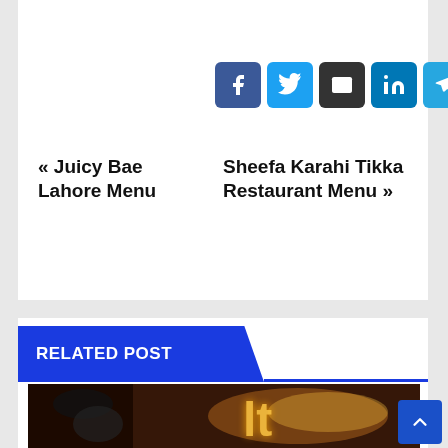[Figure (infographic): Row of social share buttons: Facebook (blue), Twitter (light blue), Email (dark/black), LinkedIn (blue), Telegram (cyan-blue), Pinterest (red)]
« Juicy Bae Lahore Menu
Sheefa Karahi Tikka Restaurant Menu »
RELATED POST
[Figure (photo): Person eating a burger in front of a neon-lit restaurant wall with glowing yellow/orange neon text partially visible]